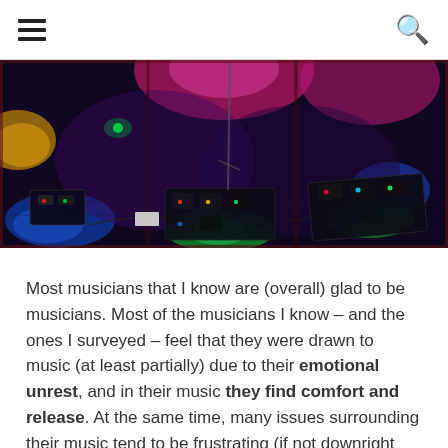≡  🔍
[Figure (photo): Overhead/top-down view of a live music stage floor with colorful lighting — pink, blue, green, purple lights illuminating guitar pedal boards, cables, and band equipment on a dark stage floor.]
Most musicians that I know are (overall) glad to be musicians. Most of the musicians I know – and the ones I surveyed – feel that they were drawn to music (at least partially) due to their emotional unrest, and in their music they find comfort and release. At the same time, many issues surrounding their music tend to be frustrating (if not downright depressing).